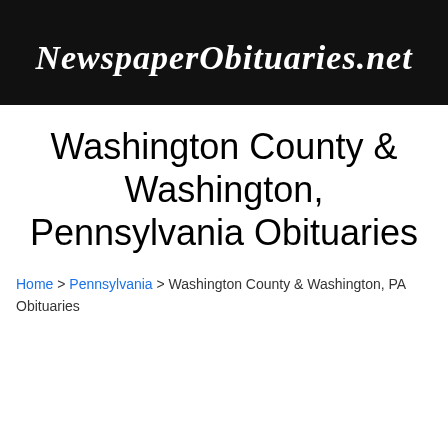[Figure (logo): NewspaperObituaries.net logo — white old-English/blackletter text on black background]
Washington County & Washington, Pennsylvania Obituaries
Home > Pennsylvania > Washington County & Washington, PA Obituaries